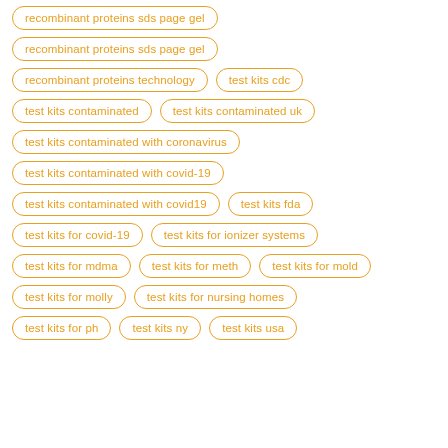recombinant proteins sds page gel
recombinant proteins technology
test kits cdc
test kits contaminated
test kits contaminated uk
test kits contaminated with coronavirus
test kits contaminated with covid-19
test kits contaminated with covid19
test kits fda
test kits for covid-19
test kits for ionizer systems
test kits for mdma
test kits for meth
test kits for mold
test kits for molly
test kits for nursing homes
test kits for ph
test kits ny
test kits usa